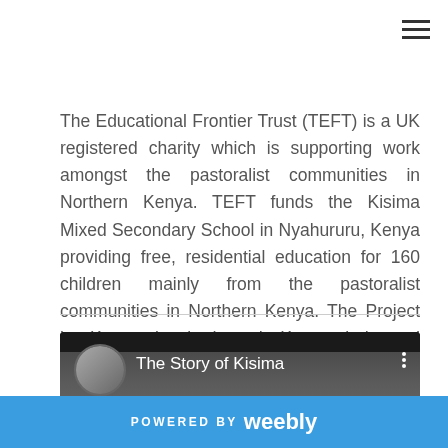hamburger menu icon
The Educational Frontier Trust (TEFT) is a UK registered charity which is supporting work amongst the pastoralist communities in Northern Kenya. TEFT funds the Kisima Mixed Secondary School in Nyahururu, Kenya providing free, residential education for 160 children mainly from the pastoralist communities in Northern Kenya. The Project is Kenyan-inspired and Kenyan-led, and through education aims to help young people become more self-determining and self-sustaining.
[Figure (screenshot): YouTube video embed showing 'The Story of Kisima' with a circular avatar thumbnail on the left, the video title in white text, and a three-dot menu icon on the right, all on a dark background with a faint building image visible.]
POWERED BY weebly